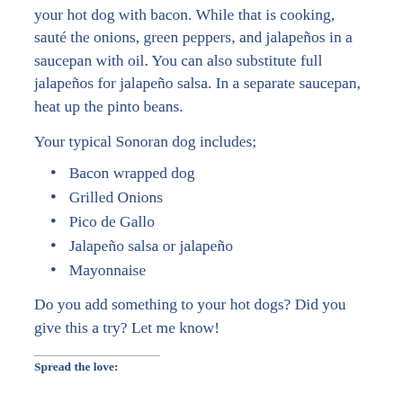your hot dog with bacon. While that is cooking, sauté the onions, green peppers, and jalapeños in a saucepan with oil. You can also substitute full jalapeños for jalapeño salsa. In a separate saucepan, heat up the pinto beans.
Your typical Sonoran dog includes;
Bacon wrapped dog
Grilled Onions
Pico de Gallo
Jalapeño salsa or jalapeño
Mayonnaise
Do you add something to your hot dogs? Did you give this a try? Let me know!
Spread the love: